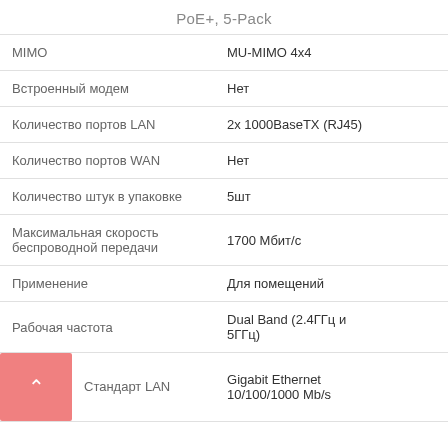PoE+, 5-Pack
| Характеристика | Значение |
| --- | --- |
| MIMO | MU-MIMO 4x4 |
| Встроенный модем | Нет |
| Количество портов LAN | 2x 1000BaseTX (RJ45) |
| Количество портов WAN | Нет |
| Количество штук в упаковке | 5шт |
| Максимальная скорость беспроводной передачи | 1700 Мбит/с |
| Применение | Для помещений |
| Рабочая частота | Dual Band (2.4ГГц и 5ГГц) |
| Стандарт LAN | Gigabit Ethernet 10/100/1000 Mb/s |